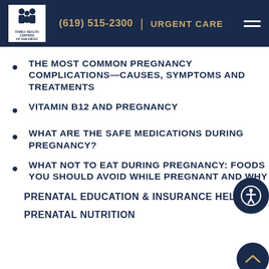(619) 515-2300 | URGENT CARE
THE MOST COMMON PREGNANCY COMPLICATIONS—CAUSES, SYMPTOMS AND TREATMENTS
VITAMIN B12 AND PREGNANCY
WHAT ARE THE SAFE MEDICATIONS DURING PREGNANCY?
WHAT NOT TO EAT DURING PREGNANCY: FOODS YOU SHOULD AVOID WHILE PREGNANT AND WHY
PRENATAL EDUCATION & INSURANCE HELP
PRENATAL NUTRITION